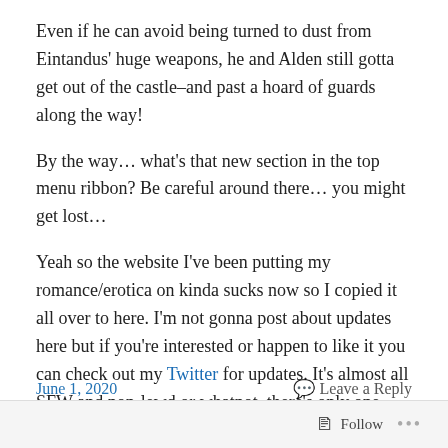Even if he can avoid being turned to dust from Eintandus' huge weapons, he and Alden still gotta get out of the castle–and past a hoard of guards along the way!
By the way… what's that new section in the top menu ribbon? Be careful around there… you might get lost…
Yeah so the website I've been putting my romance/erotica on kinda sucks now so I copied it all over to here. I'm not gonna post about updates here but if you're interested or happen to like it you can check out my Twitter for updates. It's almost all SFW and non-lewd or whatnot, there's only one story that veers into NSFW territory but it's on the edge.
June 1, 2020    Leave a Reply